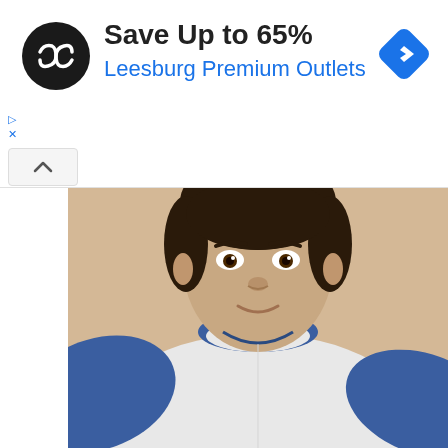[Figure (infographic): Advertisement banner: circular black logo with double arrow icon, headline 'Save Up to 65%', subtext 'Leesburg Premium Outlets', blue diamond navigation icon top right, small play and close controls on left]
[Figure (photo): Photo of a young male teenager wearing a white and blue raglan baseball-style long sleeve shirt, against a beige/tan background, close-up from chest up]